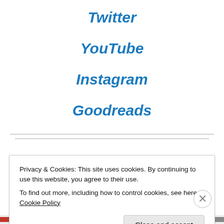Twitter
YouTube
Instagram
Goodreads
Privacy & Cookies: This site uses cookies. By continuing to use this website, you agree to their use.
To find out more, including how to control cookies, see here: Cookie Policy
Close and accept